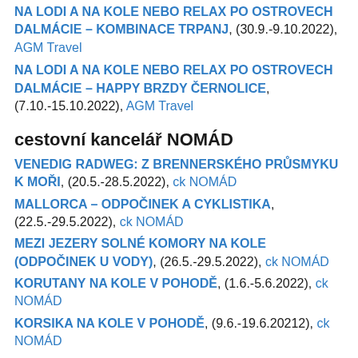NA LODI A NA KOLE NEBO RELAX PO OSTROVECH DALMÁCIE – KOMBINACE TRPANJ, (30.9.-9.10.2022), AGM Travel
NA LODI A NA KOLE NEBO RELAX PO OSTROVECH DALMÁCIE – HAPPY BRZDY ČERNOLICE, (7.10.-15.10.2022), AGM Travel
cestovní kancelář NOMÁD
VENEDIG RADWEG: Z BRENNERSKÉHO PRŮSMYKU K MOŘI, (20.5.-28.5.2022), ck NOMÁD
MALLORCA – ODPOČINEK A CYKLISTIKA, (22.5.-29.5.2022), ck NOMÁD
MEZI JEZERY SOLNÉ KOMORY NA KOLE (ODPOČINEK U VODY), (26.5.-29.5.2022), ck NOMÁD
KORUTANY NA KOLE V POHODĚ, (1.6.-5.6.2022), ck NOMÁD
KORSIKA NA KOLE V POHODĚ, (9.6.-19.6.20212), ck NOMÁD